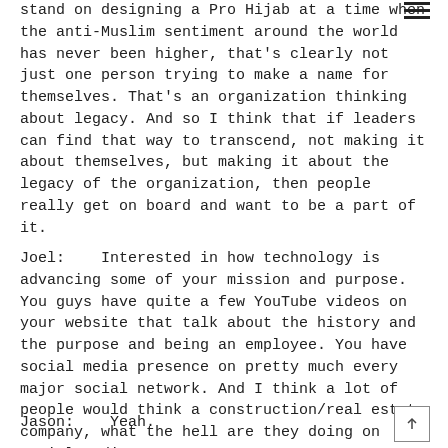stand on designing a Pro Hijab at a time when the anti-Muslim sentiment around the world has never been higher, that's clearly not just one person trying to make a name for themselves. That's an organization thinking about legacy. And so I think that if leaders can find that way to transcend, not making it about themselves, but making it about the legacy of the organization, then people really get on board and want to be a part of it.
Joel:    Interested in how technology is advancing some of your mission and purpose. You guys have quite a few YouTube videos on your website that talk about the history and the purpose and being an employee. You have social media presence on pretty much every major social network. And I think a lot of people would think a construction/real estate company, what the hell are they doing on social media?
Jason:    Yeah.